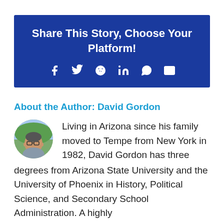Share This Story, Choose Your Platform!
[Figure (infographic): Row of social media share icons: Facebook, Twitter, Reddit, LinkedIn, WhatsApp, Email]
About the Author: David Gordon
[Figure (photo): Circular profile photo of David Gordon, a middle-aged man with glasses wearing a grey shirt, outdoors background]
Living in Arizona since his family moved to Tempe from New York in 1982, David Gordon has three degrees from Arizona State University and the University of Phoenix in History, Political Science, and Secondary School Administration. A highly